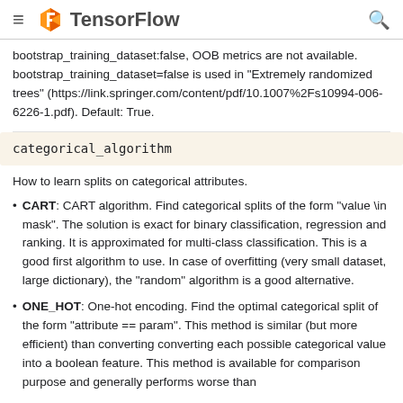TensorFlow
bootstrap_training_dataset:false, OOB metrics are not available. bootstrap_training_dataset=false is used in "Extremely randomized trees" (https://link.springer.com/content/pdf/10.1007%2Fs10994-006-6226-1.pdf). Default: True.
categorical_algorithm
How to learn splits on categorical attributes.
CART: CART algorithm. Find categorical splits of the form "value \in mask". The solution is exact for binary classification, regression and ranking. It is approximated for multi-class classification. This is a good first algorithm to use. In case of overfitting (very small dataset, large dictionary), the "random" algorithm is a good alternative.
ONE_HOT: One-hot encoding. Find the optimal categorical split of the form "attribute == param". This method is similar (but more efficient) than converting converting each possible categorical value into a boolean feature. This method is available for comparison purpose and generally performs worse than